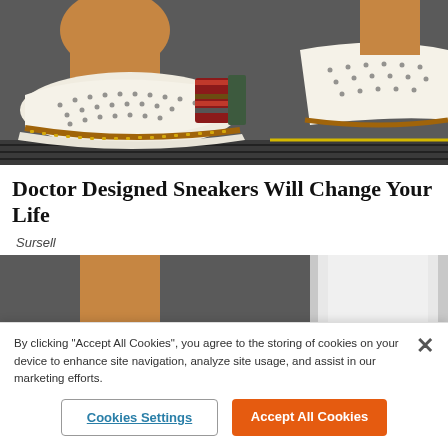[Figure (photo): Close-up photo of white slip-on sneakers with perforated upper, brown/gold trim, and colorful striped elastic band, worn on feet against a dark grid surface]
Doctor Designed Sneakers Will Change Your Life
Sursell
[Figure (photo): Photo of white slip-on sneakers with perforated upper and brown trim worn by a person in white pants, shown from side angle]
By clicking "Accept All Cookies", you agree to the storing of cookies on your device to enhance site navigation, analyze site usage, and assist in our marketing efforts.
Cookies Settings
Accept All Cookies